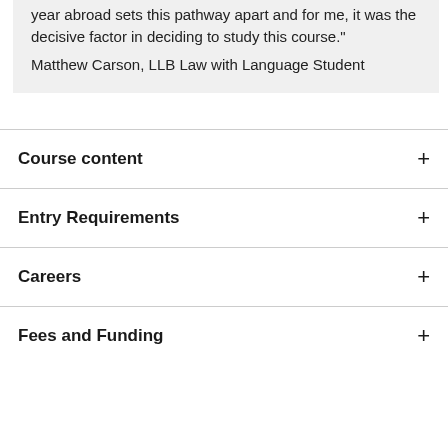year abroad sets this pathway apart and for me, it was the decisive factor in deciding to study this course."
Matthew Carson, LLB Law with Language Student
Course content
Entry Requirements
Careers
Fees and Funding